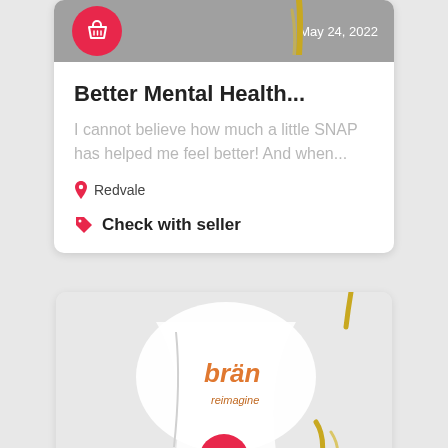Better Mental Health...
I cannot believe how much a little SNAP has helped me feel better! And when...
Redvale
Check with seller
[Figure (photo): Product photo showing a white glass or cup with orange 'brän' branding, with gold decorative elements, on a light gray background]